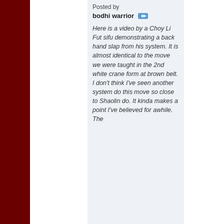Posted by bodhi warrior
Here is a video by a Choy Li Fut sifu demonstrating a back hand slap from his system. It is almost identical to the move we were taught in the 2nd white crane form at brown belt. I don't think I've seen another system do this move so close to Shaolin do. It kinda makes a point I've believed for awhile. The